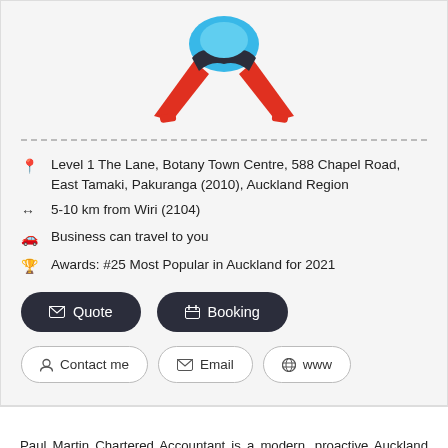[Figure (logo): Paul Martin Chartered Accountant logo — red and blue stylized circular figure with arms outstretched]
Level 1 The Lane, Botany Town Centre, 588 Chapel Road, East Tamaki, Pakuranga (2010), Auckland Region
5-10 km from Wiri (2104)
Business can travel to you
Awards: #25 Most Popular in Auckland for 2021
Quote
Booking
Contact me
Email
www
Paul Martin Chartered Accountant is a modern, proactive Auckland firm located at Botany Town Centre, East Auckland. Utilising the cloud and other technologies we provide accounting, tax and business strategy and advisory services to individuals and businesses across New Zealand and internationally. Our objective is to provide sound financial planning and reporting to meet your needs now and in the future as your